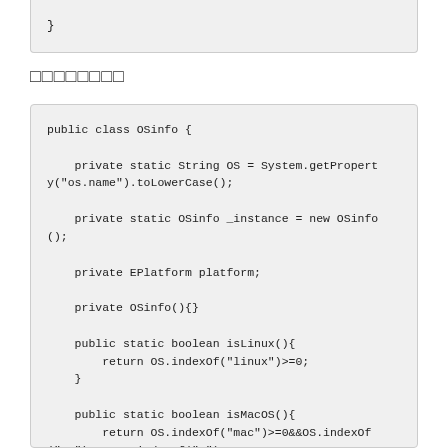}
□□□□□□□□
public class OSinfo {

    private static String OS = System.getProperty("os.name").toLowerCase();

    private static OSinfo _instance = new OSinfo();

    private EPlatform platform;

    private OSinfo(){}

    public static boolean isLinux(){
        return OS.indexOf("linux")>=0;
    }

    public static boolean isMacOS(){
        return OS.indexOf("mac")>=0&&OS.indexOf("os")>0&&OS.indexOf("x")<0;